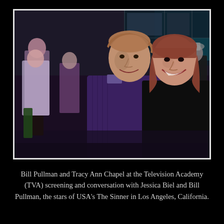[Figure (photo): Two people posing together indoors at an event venue. A tall man with reddish-blonde hair wearing a dark purple/blue shirt stands next to a woman with reddish-brown shoulder-length hair wearing a black outfit. Both are smiling. Background shows glass windows, other event attendees, and teal/blue ambient lighting.]
Bill Pullman and Tracy Ann Chapel at the Television Academy (TVA) screening and conversation with Jessica Biel and Bill Pullman, the stars of USA's The Sinner in Los Angeles, California.